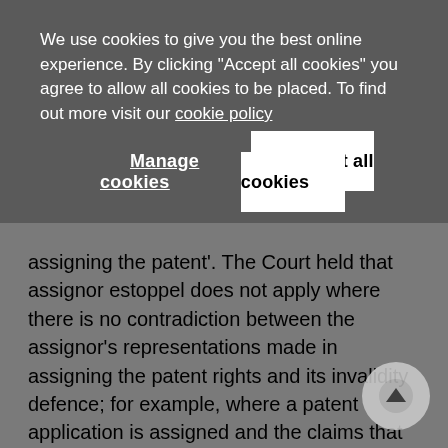We use cookies to give you the best online experience. By clicking "Accept all cookies" you agree to allow all cookies to be placed. To find out more visit our cookie policy
Manage cookies
Accept all cookies
assigning the patent'. The Court held that assignor estoppel does not apply where there is no contradiction between the assignor's representations made in assigning the patent rights and its invalidity defence; for example, where a patent application is assigned and the claims that issue from it are 'materially broader' than the assigned claims. It also gave other examples where assignor estoppel would not apply, such as when an employee prospectively assigns an employer patent